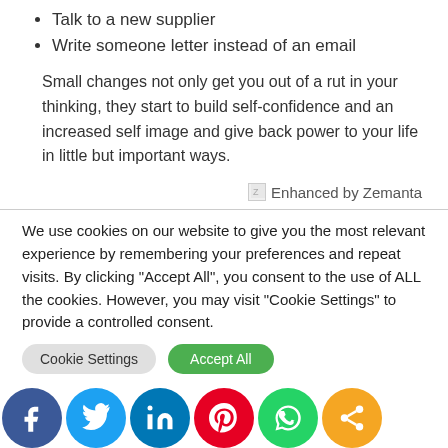Talk to a new supplier
Write someone letter instead of an email
Small changes not only get you out of a rut in your thinking, they start to build self-confidence and an increased self image and give back power to your life in little but important ways.
[Figure (logo): Zemanta Enhanced by Zemanta badge icon]
We use cookies on our website to give you the most relevant experience by remembering your preferences and repeat visits. By clicking “Accept All”, you consent to the use of ALL the cookies. However, you may visit “Cookie Settings” to provide a controlled consent.
Cookie Settings | Accept All
[Figure (infographic): Social sharing buttons: Facebook, Twitter, LinkedIn, Pinterest, WhatsApp, Share]